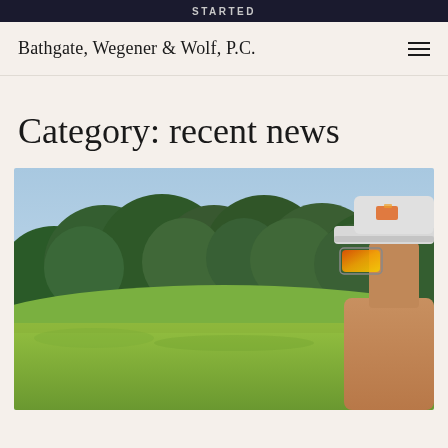STARTED
Bathgate, Wegener & Wolf, P.C.
Category: recent news
[Figure (photo): Outdoor golf course scene with trees and blue sky in background; partial view of a person wearing a white cap with orange-tinted sunglasses on the right side of the image.]